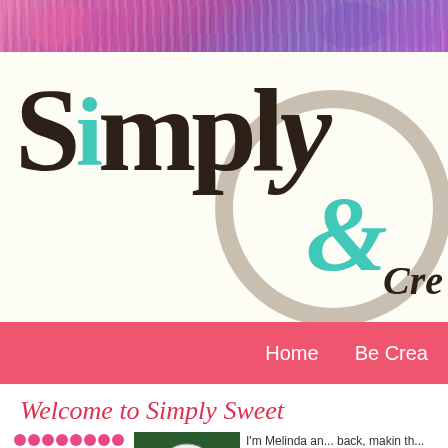[Figure (photo): Colorful pink and purple yarn skeins close-up banner image]
[Figure (logo): Simply Sweet Creations logo with large serif text 'Simply' in dark brown with teal accent letters 'i' and ampersand, with decorative taupe circle and 'Cre' text partially visible]
Home    Be Crea...
Welcome to Simply Sweet
[Figure (illustration): Colorful dot pattern arrangement (pink and green circles) on white background]
[Figure (photo): Black and white crocheted ball or ornament on green background]
I'm Melinda a... back, makin th...